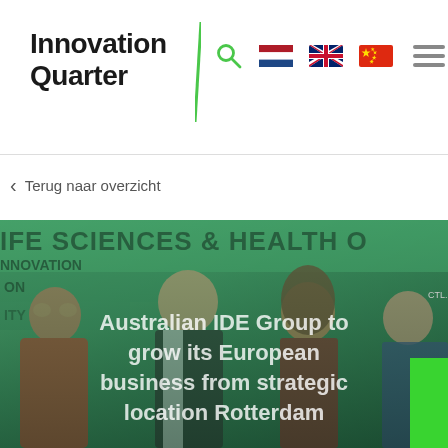Innovation Quarter
Terug naar overzicht
[Figure (photo): Group photo of four people (two women on the left and right, one man in centre-left, one woman centre-right) smiling in front of a 'Life Sciences & Health' conference banner. The image has a green tint overlay. Overlaid text reads: 'Australian IDE Group to grow its European business from strategic location Rotterdam']
Australian IDE Group to grow its European business from strategic location Rotterdam